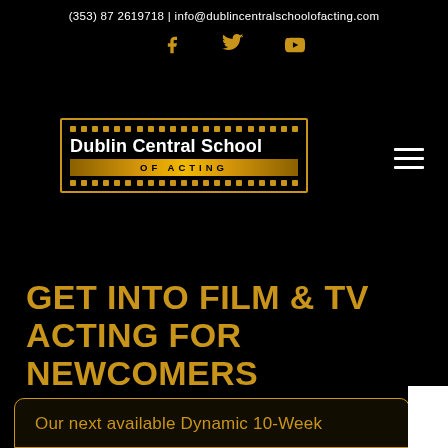(353) 87 2619718 | info@dublincentralschoolofacting.com
[Figure (logo): Dublin Central School of Acting logo with film strip border, social media icons (Facebook, Twitter, YouTube) in gold, and hamburger menu icon]
GET INTO FILM & TV ACTING FOR NEWCOMERS
Our next available Dynamic 10-Week